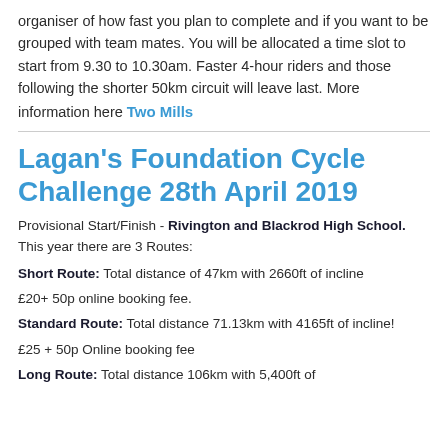organiser of how fast you plan to complete and if you want to be grouped with team mates. You will be allocated a time slot to start from 9.30 to 10.30am. Faster 4-hour riders and those following the shorter 50km circuit will leave last. More information here Two Mills
Lagan's Foundation Cycle Challenge 28th April 2019
Provisional Start/Finish - Rivington and Blackrod High School. This year there are 3 Routes:
Short Route: Total distance of 47km with 2660ft of incline
£20+ 50p online booking fee.
Standard Route: Total distance 71.13km with 4165ft of incline!
£25 + 50p Online booking fee
Long Route: Total distance 106km with 5,400ft of